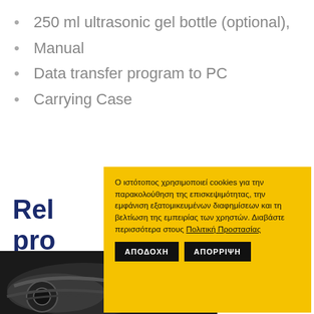250 ml ultrasonic gel bottle (optional),
Manual
Data transfer program to PC
Carrying Case
Rel… pro…
[Figure (photo): Photo of cables/equipment partially visible behind cookie consent overlay]
Ο ιστότοπος χρησιμοποιεί cookies για την παρακολούθηση της επισκεψιμότητας, την εμφάνιση εξατομικευμένων διαφημίσεων και τη βελτίωση της εμπειρίας των χρηστών. Διαβάστε περισσότερα στους Πολιτική Προστασίας
ΑΠΟΔΟΧΗ | ΑΠΟΡΡΙΨΗ